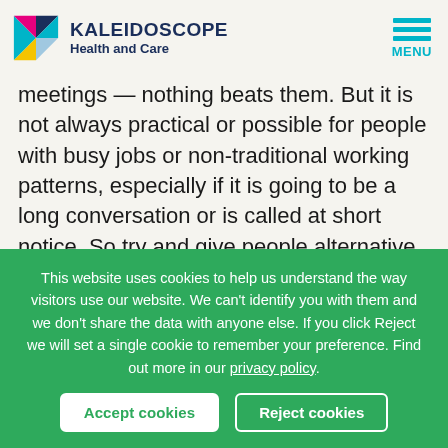[Figure (logo): Kaleidoscope Health and Care logo with colourful K lettermark and MENU icon]
meetings — nothing beats them. But it is not always practical or possible for people with busy jobs or non-traditional working patterns, especially if it is going to be a long conversation or is called at short notice. So try and give people alternative ways to be...
This website uses cookies to help us understand the way visitors use our website. We can't identify you with them and we don't share the data with anyone else. If you click Reject we will set a single cookie to remember your preference. Find out more in our privacy policy.
Accept cookies
Reject cookies